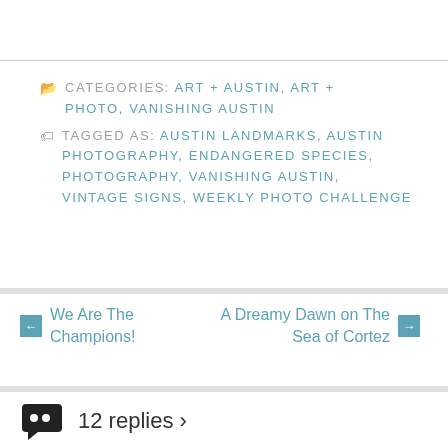CATEGORIES: ART + AUSTIN, ART + PHOTO, VANISHING AUSTIN
TAGGED AS: AUSTIN LANDMARKS, AUSTIN PHOTOGRAPHY, ENDANGERED SPECIES, PHOTOGRAPHY, VANISHING AUSTIN, VINTAGE SIGNS, WEEKLY PHOTO CHALLENGE
← We Are The Champions!
A Dreamy Dawn on The Sea of Cortez →
12 replies ›